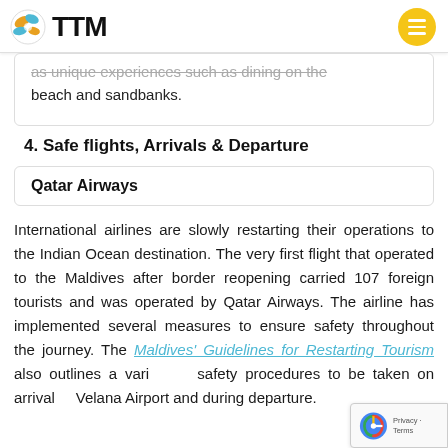TTM
as unique experiences such as dining on the beach and sandbanks.
4. Safe flights, Arrivals & Departure
Qatar Airways
International airlines are slowly restarting their operations to the Indian Ocean destination. The very first flight that operated to the Maldives after border reopening carried 107 foreign tourists and was operated by Qatar Airways. The airline has implemented several measures to ensure safety throughout the journey. The Maldives' Guidelines for Restarting Tourism also outlines a variety of safety procedures to be taken on arrival at Velana Airport and during departure.